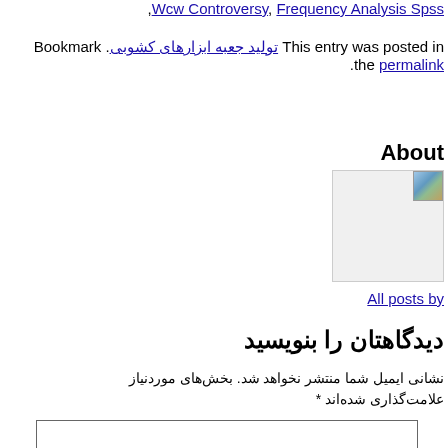,Wcw Controversy, Frequency Analysis Spss
Bookmark . تولید جعبه ابزارهای کشوبی This entry was posted in the permalink.
About
[Figure (photo): Small profile image thumbnail in top-right of image box]
All posts by
دیدگاهتان را بنویسید
نشانی ایمیل شما منتشر نخواهد شد. بخش‌های موردنیاز علامت‌گذاری شده‌اند *